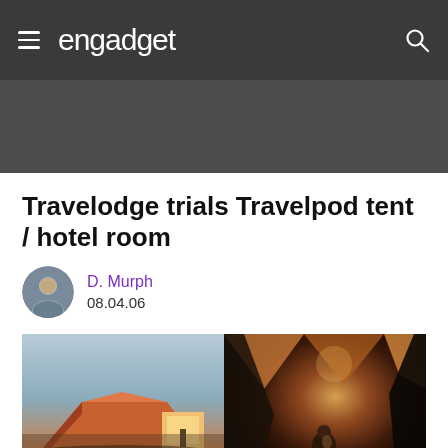engadget
Travelodge trials Travelpod tent / hotel room
D. Murph
08.04.06
[Figure (photo): Two side-by-side photos of a Travelodge Travelpod tent hotel room. Left photo shows the exterior of an orange and white pod-shaped tent structure at dusk outdoors. Right photo shows the interior of the tent at night with warm lighting and a person sitting on the bed.]